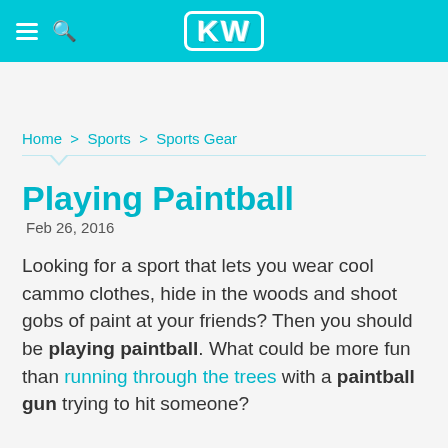KW
Home > Sports > Sports Gear
Playing Paintball
Feb 26, 2016
Looking for a sport that lets you wear cool cammo clothes, hide in the woods and shoot gobs of paint at your friends? Then you should be playing paintball. What could be more fun than running through the trees with a paintball gun trying to hit someone?